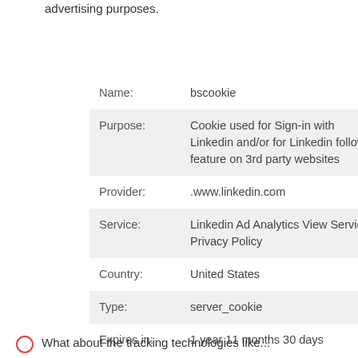advertising purposes.
| Field | Value |
| --- | --- |
| Name: | bscookie |
| Purpose: | Cookie used for Sign-in with Linkedin and/or for Linkedin follow feature on 3rd party websites |
| Provider: | .www.linkedin.com |
| Service: | Linkedin Ad Analytics View Service Privacy Policy |
| Country: | United States |
| Type: | server_cookie |
| Expires in: | 1 year 11 months 30 days |
What about the tracking technologies like...